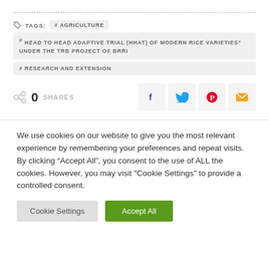TAGS: # AGRICULTURE
# HEAD TO HEAD ADAPTIVE TRIAL (HHAT) OF MODERN RICE VARIETIES” UNDER THE TRB PROJECT OF BRRI
# RESEARCH AND EXTENSION
0 SHARES
We use cookies on our website to give you the most relevant experience by remembering your preferences and repeat visits. By clicking “Accept All”, you consent to the use of ALL the cookies. However, you may visit "Cookie Settings" to provide a controlled consent.
Cookie Settings  Accept All